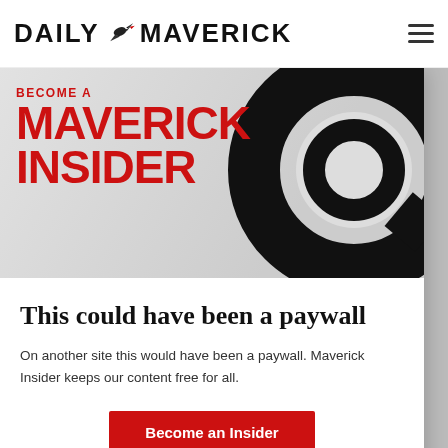DAILY MAVERICK
[Figure (infographic): Maverick Insider promotional banner with red text 'BECOME A MAVERICK INSIDER' and large black spiral/Q graphic on grey gradient background]
This could have been a paywall
On another site this would have been a paywall. Maverick Insider keeps our content free for all.
Become an Insider
taken over nearly 30% of the floodplain and kept